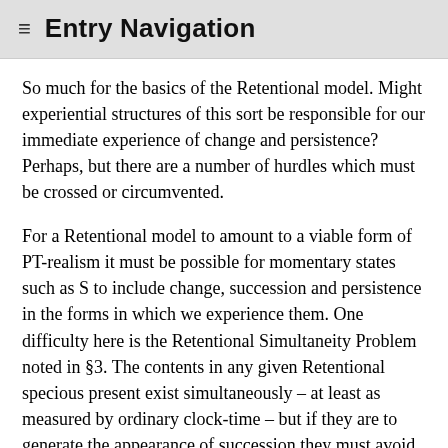≡ Entry Navigation
So much for the basics of the Retentional model. Might experiential structures of this sort be responsible for our immediate experience of change and persistence? Perhaps, but there are a number of hurdles which must be crossed or circumvented.
For a Retentional model to amount to a viable form of PT-realism it must be possible for momentary states such as S to include change, succession and persistence in the forms in which we experience them. One difficulty here is the Retentional Simultaneity Problem noted in §3. The contents in any given Retentional specious present exist simultaneously – at least as measured by ordinary clock-time – but if they are to generate the appearance of succession they must avoid leaving the impression that the events they represent also occur simultaneously. If a number of tones are heard simultaneously, the result is obviously a chord rather than a succession. In fact, it is not just succession that the Retentional theorist needs to accommodate. Returning to Figure 14, it was stipulated